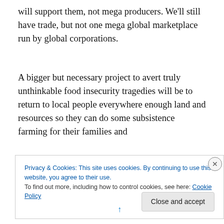will support them, not mega producers. We'll still have trade, but not one mega global marketplace run by global corporations.
A bigger but necessary project to avert truly unthinkable food insecurity tragedies will be to return to local people everywhere enough land and resources so they can do some subsistence farming for their families and
Privacy & Cookies: This site uses cookies. By continuing to use this website, you agree to their use.
To find out more, including how to control cookies, see here: Cookie Policy
Close and accept